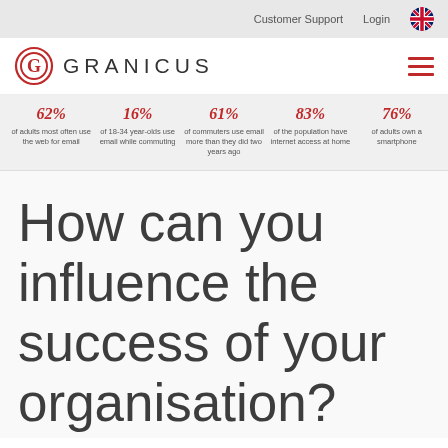Customer Support   Login
[Figure (logo): Granicus logo with circular G icon and GRANICUS text in grey]
of adults most often use the web for email | of 18-34 year-olds use email while commuting | of commuters use email more than they did two years ago | of the population have internet access at home | of adults own a smartphone
How can you influence the success of your organisation?